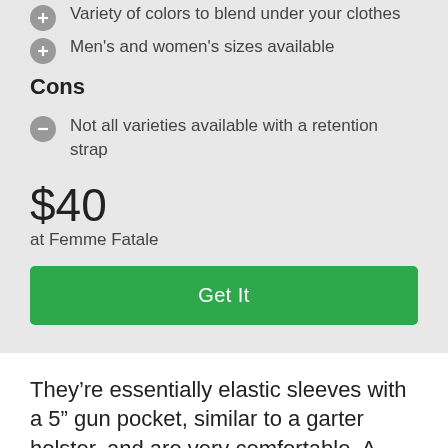Variety of colors to blend under your clothes
Men's and women's sizes available
Cons
Not all varieties available with a retention strap
$40
at Femme Fatale
Get It
They’re essentially elastic sleeves with a 5” gun pocket, similar to a garter holster, and are very comfortable. A plastic shield between the leg and gun pocket aids in comfort and security.